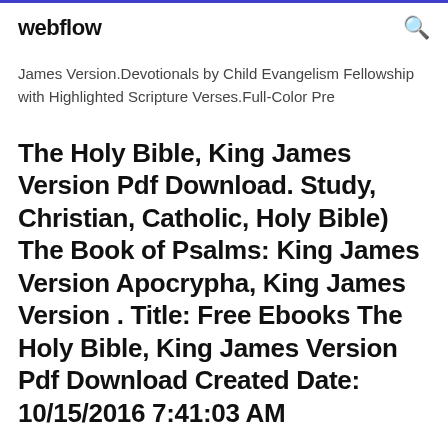webflow
James Version.Devotionals by Child Evangelism Fellowship with Highlighted Scripture Verses.Full-Color Pre
The Holy Bible, King James Version Pdf Download. Study, Christian, Catholic, Holy Bible) The Book of Psalms: King James Version Apocrypha, King James Version . Title: Free Ebooks The Holy Bible, King James Version Pdf Download Created Date: 10/15/2016 7:41:03 AM